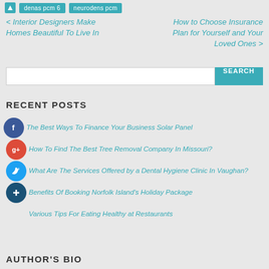denas pcm 6  neurodens pcm
< Interior Designers Make Homes Beautiful To Live In
How to Choose Insurance Plan for Yourself and Your Loved Ones >
SEARCH
RECENT POSTS
The Best Ways To Finance Your Business Solar Panel
How To Find The Best Tree Removal Company In Missouri?
What Are The Services Offered by a Dental Hygiene Clinic In Vaughan?
Benefits Of Booking Norfolk Island's Holiday Package
Various Tips For Eating Healthy at Restaurants
AUTHOR'S BIO